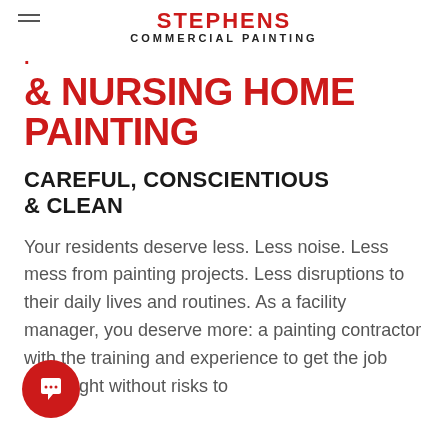STEPHENS COMMERCIAL PAINTING
& NURSING HOME PAINTING
CAREFUL, CONSCIENTIOUS & CLEAN
Your residents deserve less. Less noise. Less mess from painting projects. Less disruptions to their daily lives and routines. As a facility manager, you deserve more: a painting contractor with the training and experience to get the job done right without risks to